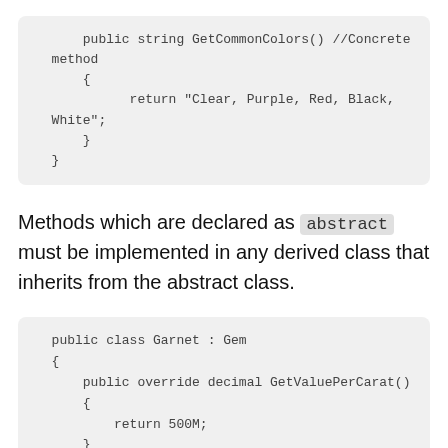[Figure (screenshot): Code block showing GetCommonColors() method returning a string of color names]
Methods which are declared as abstract must be implemented in any derived class that inherits from the abstract class.
[Figure (screenshot): Code block showing public class Garnet : Gem with GetValuePerCarat() method returning 500M]